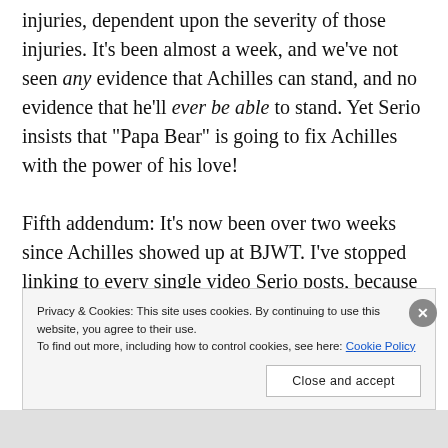injuries, dependent upon the severity of those injuries. It’s been almost a week, and we’ve not seen any evidence that Achilles can stand, and no evidence that he’ll ever be able to stand. Yet Serio insists that “Papa Bear” is going to fix Achilles with the power of his love!
Fifth addendum: It’s now been over two weeks since Achilles showed up at BJWT. I’ve stopped linking to every single video Serio posts, because there’s about 300 of them relating to Achilles. The one thing that
Privacy & Cookies: This site uses cookies. By continuing to use this website, you agree to their use.
To find out more, including how to control cookies, see here: Cookie Policy